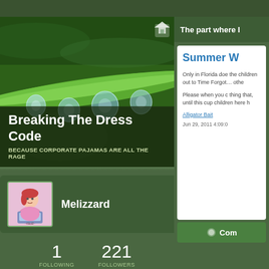[Figure (screenshot): Close-up photo of water droplets on a green grass blade/stem]
Breaking The Dress Code
BECAUSE CORPORATE PAJAMAS ARE ALL THE RAGE
[Figure (photo): Profile avatar: cartoon illustration of a person at a computer]
Melizzard
1
FOLLOWING
221
FOLLOWERS
The part where I
Summer W
Only in Florida doe the children out to Time Forgot… othe
Please when you c thing that, until this cup children here h
Alligator Bait
Jun 29, 2011 4:09:0
Com